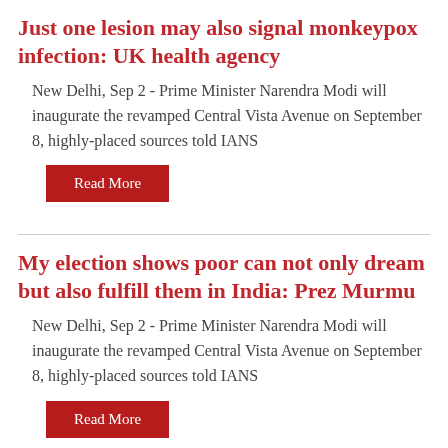Just one lesion may also signal monkeypox infection: UK health agency
New Delhi, Sep 2 - Prime Minister Narendra Modi will inaugurate the revamped Central Vista Avenue on September 8, highly-placed sources told IANS
Read More
My election shows poor can not only dream but also fulfill them in India: Prez Murmu
New Delhi, Sep 2 - Prime Minister Narendra Modi will inaugurate the revamped Central Vista Avenue on September 8, highly-placed sources told IANS
Read More